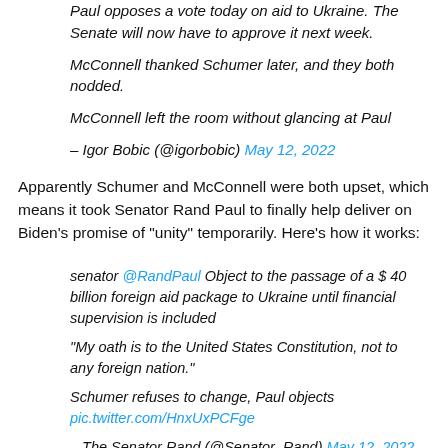Paul opposes a vote today on aid to Ukraine. The Senate will now have to approve it next week.
McConnell thanked Schumer later, and they both nodded.
McConnell left the room without glancing at Paul
– Igor Bobic (@igorbobic) May 12, 2022
Apparently Schumer and McConnell were both upset, which means it took Senator Rand Paul to finally help deliver on Biden's promise of "unity" temporarily. Here's how it works:
senator @RandPaul Object to the passage of a $ 40 billion foreign aid package to Ukraine until financial supervision is included
"My oath is to the United States Constitution, not to any foreign nation."
Schumer refuses to change, Paul objects
pic.twitter.com/HnxUxPCFge
– The Senator Rand (@Senator_Rand) May 12, 2022